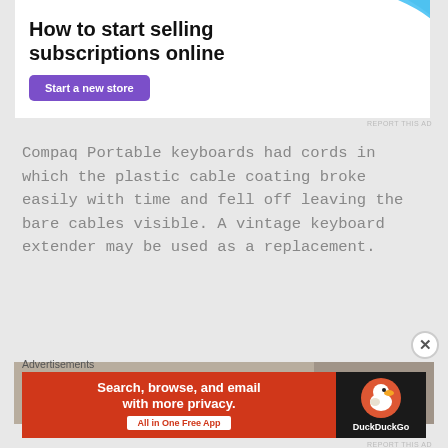[Figure (infographic): Top advertisement banner: white background with bold text 'How to start selling subscriptions online', purple 'Start a new store' button, and blue decorative shape on the right]
Compaq Portable keyboards had cords in which the plastic cable coating broke easily with time and fell off leaving the bare cables visible. A vintage keyboard extender may be used as a replacement.
[Figure (photo): Two side-by-side photos of old/damaged keyboard cables on grey backgrounds]
Advertisements
[Figure (infographic): DuckDuckGo advertisement: orange-red left panel with text 'Search, browse, and email with more privacy. All in One Free App' and dark right panel with DuckDuckGo logo]